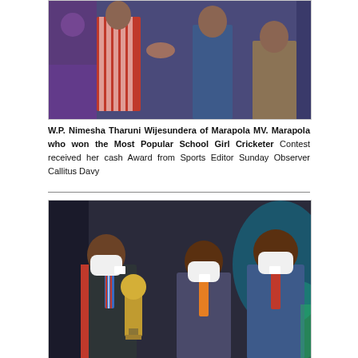[Figure (photo): Award ceremony photo showing people in colorful traditional and formal attire on a stage, one person handing something to another.]
W.P. Nimesha Tharuni Wijesundera of Marapola MV. Marapola who won the Most Popular School Girl Cricketer Contest received her cash Award from Sports Editor Sunday Observer Callitus Davy
[Figure (photo): Three men in formal suits and blazers wearing white face masks. The young man on the left holds a gold cricket trophy. Two older men stand beside him presenting the award.]